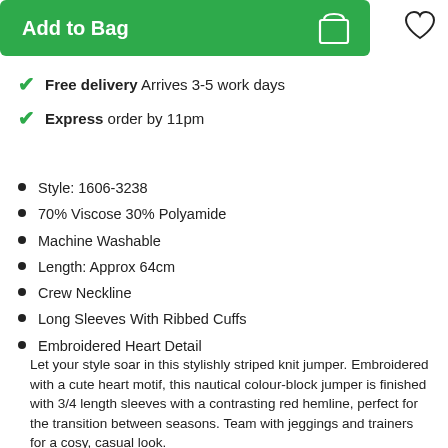Add to Bag
Free delivery Arrives 3-5 work days
Express order by 11pm
Style: 1606-3238
70% Viscose 30% Polyamide
Machine Washable
Length: Approx 64cm
Crew Neckline
Long Sleeves With Ribbed Cuffs
Embroidered Heart Detail
Let your style soar in this stylishly striped knit jumper. Embroidered with a cute heart motif, this nautical colour-block jumper is finished with 3/4 length sleeves with a contrasting red hemline, perfect for the transition between seasons. Team with jeggings and trainers for a cosy, casual look.